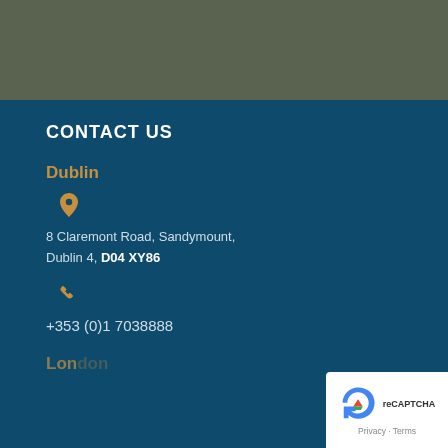[Figure (other): Dark olive/khaki colored banner image at top of page, partially visible]
CONTACT US
Dublin
[Figure (other): Gold/amber map pin location icon]
8 Claremont Road, Sandymount, Dublin 4, D04 XY86
[Figure (other): Gold/amber telephone handset icon]
+353 (0)1 7038888
London